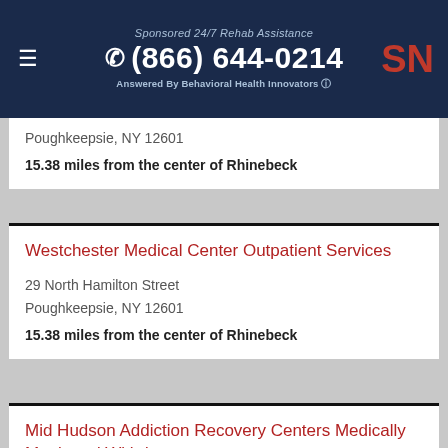Sponsored 24/7 Rehab Assistance | (866) 644-0214 | Answered By Behavioral Health Innovators | SN
Poughkeepsie, NY 12601
15.38 miles from the center of Rhinebeck
Westchester Medical Center Outpatient Services
29 North Hamilton Street
Poughkeepsie, NY 12601
15.38 miles from the center of Rhinebeck
Mid Hudson Addiction Recovery Centers Medically Monitored Withdra
51 Cannon Street